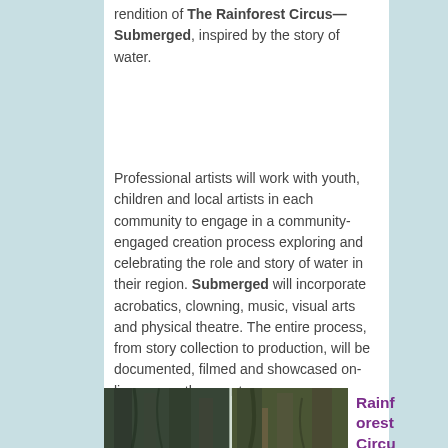rendition of The Rainforest Circus—Submerged, inspired by the story of water.
Professional artists will work with youth, children and local artists in each community to engage in a community-engaged creation process exploring and celebrating the role and story of water in their region. Submerged will incorporate acrobatics, clowning, music, visual arts and physical theatre. The entire process, from story collection to production, will be documented, filmed and showcased on-line across the country.
[Figure (photo): Forest/tall trees photograph split into two panels with a light vertical divider line between them]
Rainforest Circus Com...